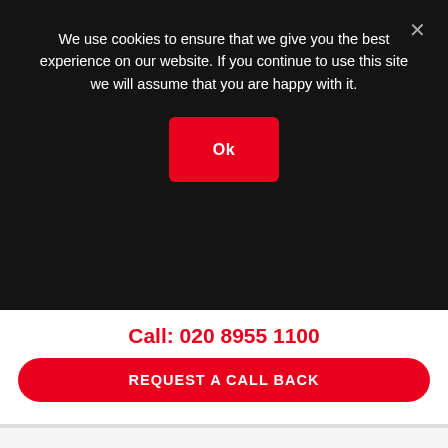We use cookies to ensure that we give you the best experience on our website. If you continue to use this site we will assume that you are happy with it.
Ok
Call: 020 8955 1100
REQUEST A CALL BACK
[Figure (logo): Hytera logo with stylized wing/bird graphic in green and blue, company name in gray sans-serif text]
Hytera PD705 LT Digital Two-Way Radio